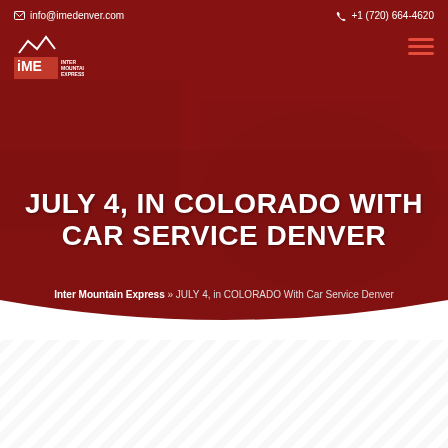info@imedenver.com | +1 (720) 664-4620
[Figure (logo): Inter Mountain Express (IME) logo with mountain icon and red square]
JULY 4, IN COLORADO WITH CAR SERVICE DENVER
Inter Mountain Express » JULY 4, in COLORADO With Car Service Denver
JULY 4, IN COLORADO WITH CAR SERVICE DENVER